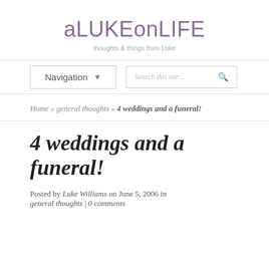aLUKEonLIFE
thoughts & things from Luke
Navigation ▾
Search this site...
Home » general thoughts » 4 weddings and a funeral!
4 weddings and a funeral!
Posted by Luke Williams on June 5, 2006 in general thoughts | 0 comments